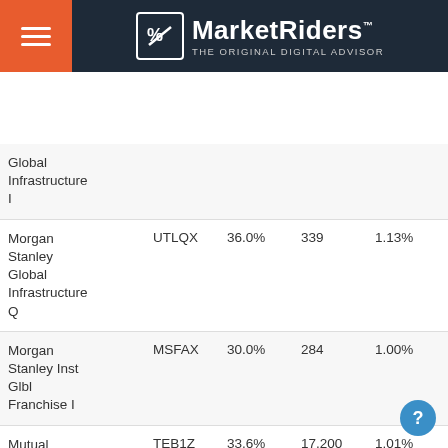MarketRiders — THE ORIGINAL DIGITAL ADVISOR
| Fund Name | Ticker | Allocation | Holdings | Exp Ratio |
| --- | --- | --- | --- | --- |
| Global Infrastructure I |  |  |  |  |
| Morgan Stanley Global Infrastructure Q | UTLQX | 36.0% | 339 | 1.13% |
| Morgan Stanley Inst Glbl Franchise I | MSFAX | 30.0% | 284 | 1.00% |
| Mutual Global Discovery Z | TEB1Z | 33.6% | 17,200 | 1.01% |